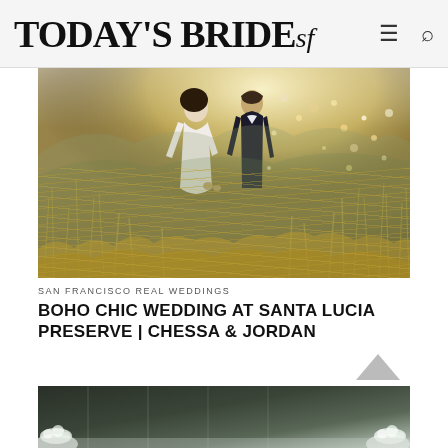TODAY'S BRIDEsf
[Figure (photo): Wedding photo of a couple kissing in a golden grass field with bokeh light effects, bride in white lace long-sleeve gown, groom in dark suit]
SAN FRANCISCO REAL WEDDINGS
BOHO CHIC WEDDING AT SANTA LUCIA PRESERVE | CHESSA & JORDAN
[Figure (photo): Partial view of a venue interior with white floral arrangements visible at the bottom of the frame]